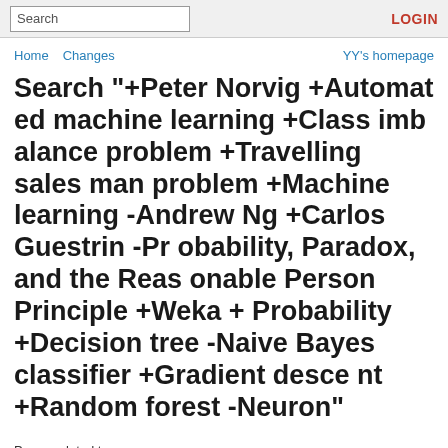Search | LOGIN
Home  Changes    YY's homepage
Search "+Peter Norvig +Automated machine learning +Class imbalance problem +Travelling salesman problem +Machine learning -Andrew Ng +Carlos Guestrin -Probability, Paradox, and the Reasonable Person Principle +Weka +Probability +Decision tree -Naive Bayes classifier +Gradient descent +Random forest -Neuron"
Pages related to: